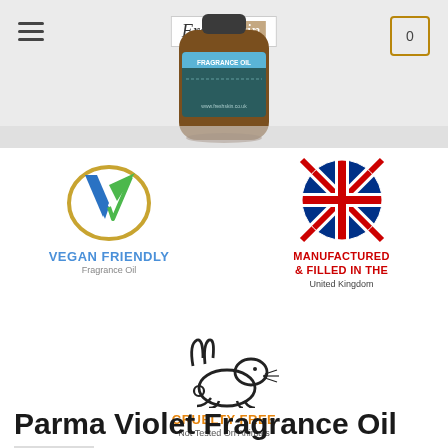[Figure (photo): Fresh Skin fragrance oil product bottle (amber glass) with teal label reading FRAGRANCE OIL and www.freshskin.co.uk, shown against a light grey background. Navigation bar with hamburger menu on left, Fresh Skin logo in centre, and shopping cart icon on right.]
[Figure (logo): Vegan Friendly Fragrance Oil badge: stylised V shape in blue and green with gold circular ring, text VEGAN FRIENDLY in blue and Fragrance Oil in grey below]
[Figure (logo): Manufactured & Filled in the United Kingdom badge: UK Union Jack flag in circular form, red text MANUFACTURED & FILLED IN THE, grey text United Kingdom]
[Figure (logo): Cruelty Free Not Tested On Animals badge: outline drawing of a jumping rabbit, orange text CRUELTY FREE, grey text Not Tested On Animals]
Parma Violet Fragrance Oil